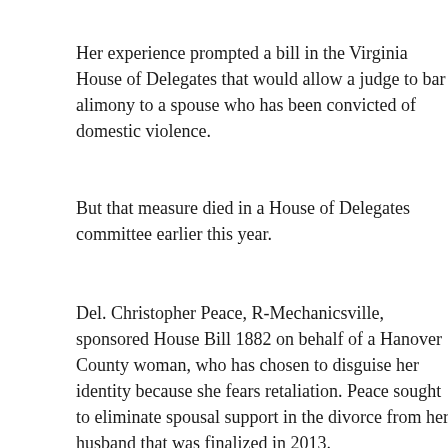Her experience prompted a bill in the Virginia House of Delegates that would allow a judge to bar alimony to a spouse who has been convicted of domestic violence.
But that measure died in a House of Delegates committee earlier this year.
Del. Christopher Peace, R-Mechanicsville, sponsored House Bill 1882 on behalf of a Hanover County woman, who has chosen to disguise her identity because she fears retaliation. Peace sought to eliminate spousal support in the divorce from her husband that was finalized in 2013.
“It is understandable to feel shocked that a court would order alimony to an abusive spouse,” said Lisa McDevitt, a prominent attorney in Vienna, Virginia. “But Virginia law gives judges broad discretion in determining whether a spouse seeking alimony should receive it. All of the circumstances of the parties, play a big role in a final ruling.
The woman’s domestic violence charges stem from an incident that occurred in late 2012 when she was at home full-time. The woman, who normally supported the